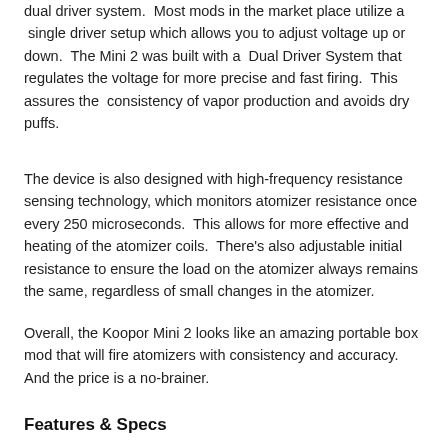dual driver system.  Most mods in the market place utilize a single driver setup which allows you to adjust voltage up or down.  The Mini 2 was built with a  Dual Driver System that regulates the voltage for more precise and fast firing.  This assures the  consistency of vapor production and avoids dry puffs.
The device is also designed with high-frequency resistance sensing technology, which monitors atomizer resistance once every 250 microseconds.  This allows for more effective and heating of the atomizer coils.  There's also adjustable initial resistance to ensure the load on the atomizer always remains the same, regardless of small changes in the atomizer.
Overall, the Koopor Mini 2 looks like an amazing portable box mod that will fire atomizers with consistency and accuracy.  And the price is a no-brainer.
Features & Specs